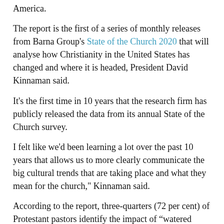America.
The report is the first of a series of monthly releases from Barna Group's State of the Church 2020 that will analyse how Christianity in the United States has changed and where it is headed, President David Kinnaman said.
It's the first time in 10 years that the research firm has publicly released the data from its annual State of the Church survey.
I felt like we'd been learning a lot over the past 10 years that allows us to more clearly communicate the big cultural trends that are taking place and what they mean for the church," Kinnaman said.
According to the report, three-quarters (72 per cent) of Protestant pastors identify the impact of “watered down Gospel teachings” on Christianity in the US as a major concern. That's especially true for pastors in non-mainline denominations (78 per cent). Mainline pastors (59 per cent) are less concerned.
About two-thirds (66 per cent) of pastors say a major concern for Christianity is “culture’s shift to a secular age”, followed by 63 per cent who identified "poor discipleship models" as a major concern and 58 per cent who named "addressing complex racial issues with